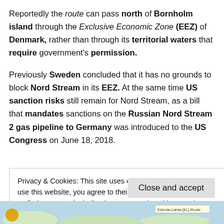Reportedly the route can pass north of Bornholm island through the Exclusive Economic Zone (EEZ) of Denmark, rather than through its territorial waters that require government's permission.
Previously Sweden concluded that it has no grounds to block Nord Stream in its EEZ. At the same time US sanction risks still remain for Nord Stream, as a bill that mandates sanctions on the Russian Nord Stream 2 gas pipeline to Germany was introduced to the US Congress on June 18, 2018.
Privacy & Cookies: This site uses cookies. By continuing to use this website, you agree to their use.
To find out more, including how to control cookies, see here: Cookie Policy
[Figure (map): Partial map strip at the bottom of the page showing a geographical map with a label reading 'Estonia-Latvia (EL) Route' and a colored circle on the left side.]